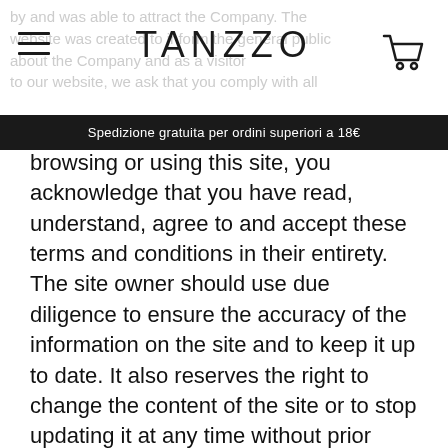by and was able to attract the Company. The website was created to inform the general public about the Company and as a visitor to our website, we ask that you comply with all
TANZZO
Spedizione gratuita per ordini superiori a 18€
browsing or using this site, you acknowledge that you have read, understand, agree to and accept these terms and conditions in their entirety. The site owner should use due diligence to ensure the accuracy of the information on the site and to keep it up to date. It also reserves the right to change the content of the site or to stop updating it at any time without prior notice and assumes no responsibility for the renewal of the site. Also, at any time and without notice, the site owner may change the services, products, prices or programs listed on the site. Before using the information from the website, check the accuracy of the information with the company. Use of the site owner's trademark is permitted only with the